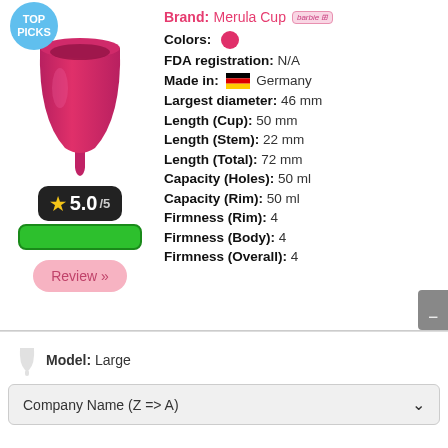[Figure (photo): Pink Merula Cup menstrual cup product photo with TOP PICKS badge]
Brand: Merula Cup
Colors: (pink circle)
FDA registration: N/A
Made in: Germany
Largest diameter: 46 mm
Length (Cup): 50 mm
Length (Stem): 22 mm
Length (Total): 72 mm
Capacity (Holes): 50 ml
Capacity (Rim): 50 ml
Firmness (Rim): 4
Firmness (Body): 4
Firmness (Overall): 4
[Figure (other): Rating badge showing 5.0/5 with star and green bar, plus Review button]
Model: Large
Company Name (Z => A)